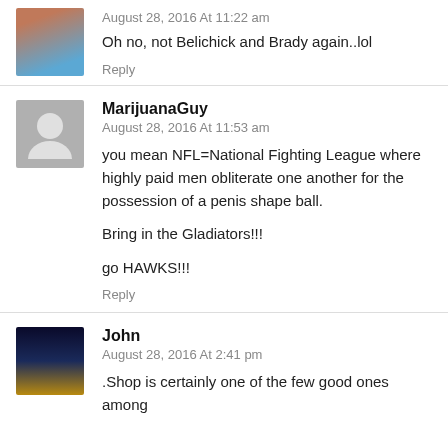August 28, 2016 At 11:22 am
Oh no, not Belichick and Brady again..lol
Reply
MarijuanaGuy
August 28, 2016 At 11:53 am
you mean NFL=National Fighting League where highly paid men obliterate one another for the possession of a penis shape ball.

Bring in the Gladiators!!!

go HAWKS!!!
Reply
John
August 28, 2016 At 2:41 pm
.Shop is certainly one of the few good ones among